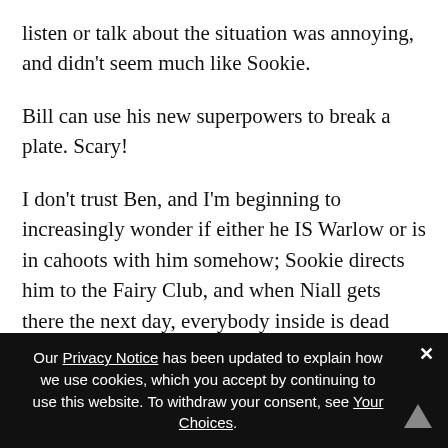listen or talk about the situation was annoying, and didn't seem much like Sookie.
Bill can use his new superpowers to break a plate. Scary!
I don't trust Ben, and I'm beginning to increasingly wonder if either he IS Warlow or is in cahoots with him somehow; Sookie directs him to the Fairy Club, and when Niall gets there the next day, everybody inside is dead (how come that mob of fairies couldn't fight Warlow off, and if they couldn't, how are Niall and Ben supposed to?) and Ben is still wandering around outside, suspiciously near to the scene of the
Our Privacy Notice has been updated to explain how we use cookies, which you accept by continuing to use this website. To withdraw your consent, see Your Choices.